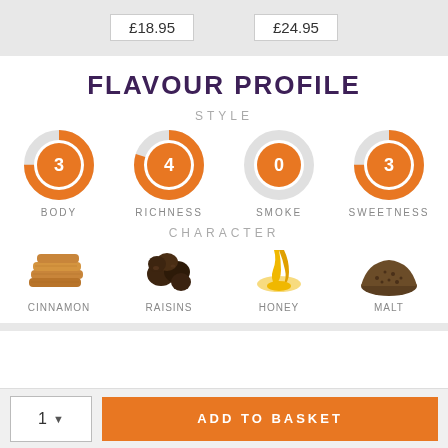£18.95   £24.95
FLAVOUR PROFILE
STYLE
[Figure (donut-chart): Four donut charts showing Body=3, Richness=4, Smoke=0, Sweetness=3]
CHARACTER
[Figure (illustration): Four character icons: Cinnamon (cinnamon sticks), Raisins (dark raisins), Honey (honey drizzle), Malt (ground malt)]
ADD TO BASKET